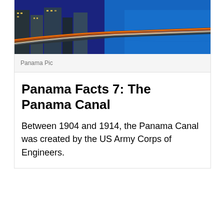[Figure (photo): Aerial night photograph of Panama City showing a highway/causeway along the waterfront with city buildings on the left and water on the right, with light trails from vehicles.]
Panama Pic
Panama Facts 7: The Panama Canal
Between 1904 and 1914, the Panama Canal was created by the US Army Corps of Engineers.